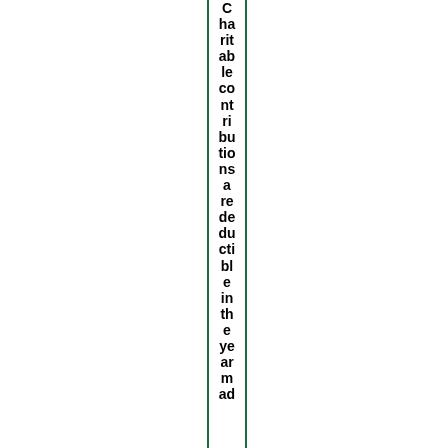Charitable contributions are deductible in the year mad